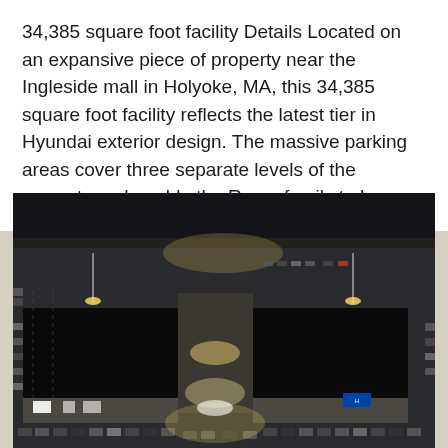34,385 square foot facility Details Located on an expansive piece of property near the Ingleside mall in Holyoke, MA, this 34,385 square foot facility reflects the latest tier in Hyundai exterior design. The massive parking areas cover three separate levels of the property and enable the Rome family to have...
[Figure (photo): Aerial night-time photograph of a Hyundai dealership facility showing the large parking lot with cars, illuminated by bright lights. The building has two large dark roof sections visible and a Hyundai logo sign. Cars are parked in rows surrounding the building on multiple levels.]